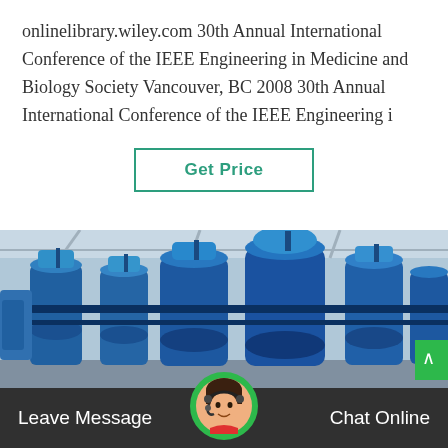onlinelibrary.wiley.com 30th Annual International Conference of the IEEE Engineering in Medicine and Biology Society Vancouver, BC 2008 30th Annual International Conference of the IEEE Engineering i
[Figure (other): A 'Get Price' button with green border and green text on white background]
[Figure (photo): Industrial blue machinery/compressors or pressure vessels in a large factory or warehouse setting, with pipes and mechanical equipment painted blue]
[Figure (other): Dark footer bar with 'Leave Message' on the left, a circular avatar of a customer service representative in the center, and 'Chat Online' on the right]